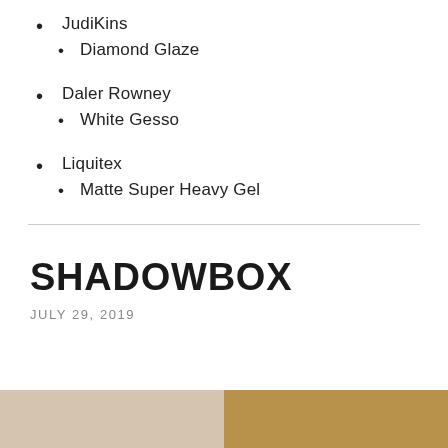JudiKins
Diamond Glaze
Daler Rowney
White Gesso
Liquitex
Matte Super Heavy Gel
SHADOWBOX
JULY 29, 2019
[Figure (photo): Partial photo visible at bottom of page, showing warm-toned objects, cut off at page edge]